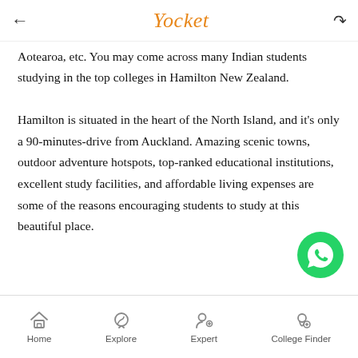Yocket
Aotearoa, etc. You may come across many Indian students studying in the top colleges in Hamilton New Zealand.
Hamilton is situated in the heart of the North Island, and it's only a 90-minutes-drive from Auckland. Amazing scenic towns, outdoor adventure hotspots, top-ranked educational institutions, excellent study facilities, and affordable living expenses are some of the reasons encouraging students to study at this beautiful place.
Home  Explore  Expert  College Finder